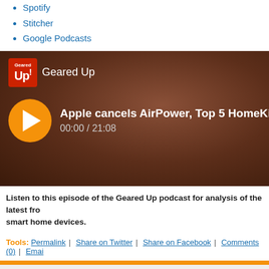Spotify
Stitcher
Google Podcasts
[Figure (screenshot): Geared Up podcast player showing episode 'Apple cancels AirPower, Top 5 HomeKit S...' with time 00:00 / 21:08, orange play button, dark brown background]
Listen to this episode of the Geared Up podcast for analysis of the latest from smart home devices.
Tools: Permalink | Share on Twitter | Share on Facebook | Comments (0) | Email
ADVERTISEMENT